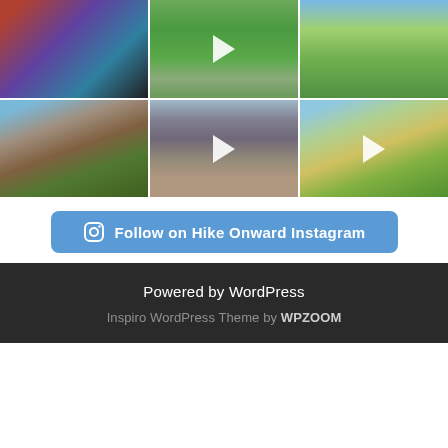[Figure (photo): 3x2 Instagram photo grid showing outdoor/hiking scenes: sleeping bags in tent, mountain trail path, alpine meadow with mountains, stone hut with mountain backdrop, rocky mountain slope, winding road through flower meadow. Some cells have video play buttons.]
Follow on Hike Onward Instagram
Powered by WordPress
Inspiro WordPress Theme by WPZOOM